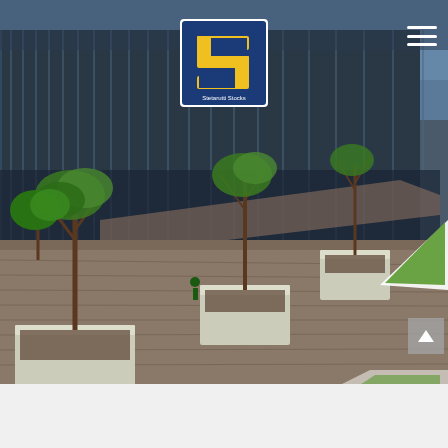[Figure (photo): Exterior view of a modern commercial building with glass facade, surrounded by concrete planter boxes with trees on a paved brick courtyard. Triangular green grass features visible in the foreground. Photo shows an urban landscaping project.]
[Figure (logo): Stetarutti Stocks company logo: blue square background with yellow stylized 'S' letter design and company name text below]